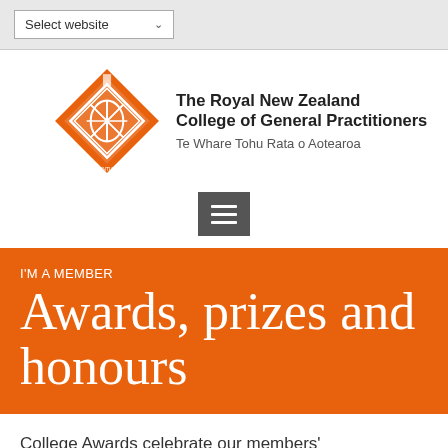[Figure (screenshot): Website top bar with 'Select website' dropdown]
[Figure (logo): The Royal New Zealand College of General Practitioners logo with orange diamond crest and organisation name]
[Figure (other): Hamburger menu icon (three horizontal lines) on grey background]
I'M A MEMBER
Awards, prizes and honours
College Awards celebrate our members' success and the contributions they make to